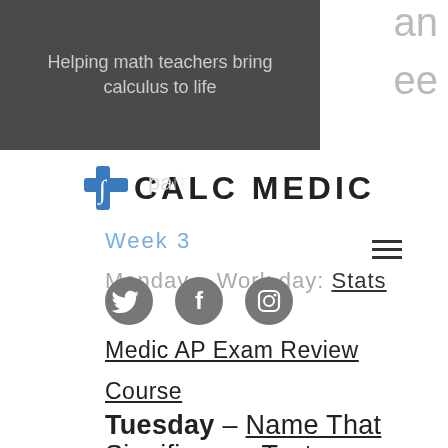Helping math teachers bring calculus to life
CALC MEDIC
Week 3
Monday – Work day: Stats Medic AP Exam Review Course
Tuesday – Name That Significance Test
Wednesday – Work